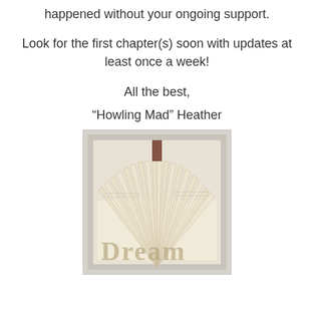happened without your ongoing support.
Look for the first chapter(s) soon with updates at least once a week!
All the best,
“Howling Mad” Heather
[Figure (photo): A photograph of a book folded into the shape of the word 'Dream', with each letter formed by carefully folded pages of the book.]